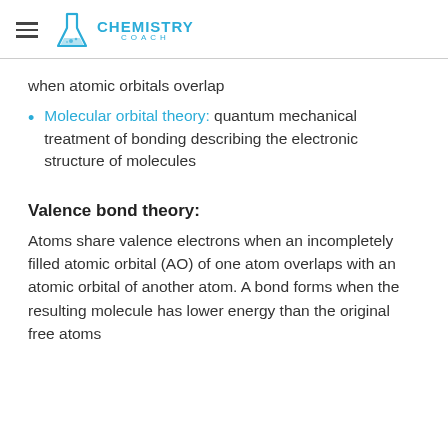CHEMISTRY COACH
when atomic orbitals overlap
Molecular orbital theory: quantum mechanical treatment of bonding describing the electronic structure of molecules
Valence bond theory:
Atoms share valence electrons when an incompletely filled atomic orbital (AO) of one atom overlaps with an atomic orbital of another atom. A bond forms when the resulting molecule has lower energy than the original free atoms